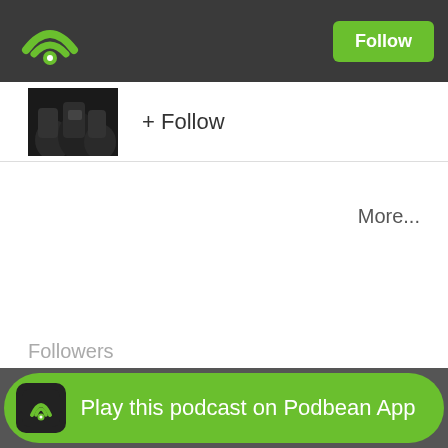[Figure (logo): Podbean WiFi/podcast logo in green on dark bar]
Follow
[Figure (photo): Small thumbnail image of people at an event, dark clothing]
+ Follow
More...
Followers
Play this podcast on Podbean App